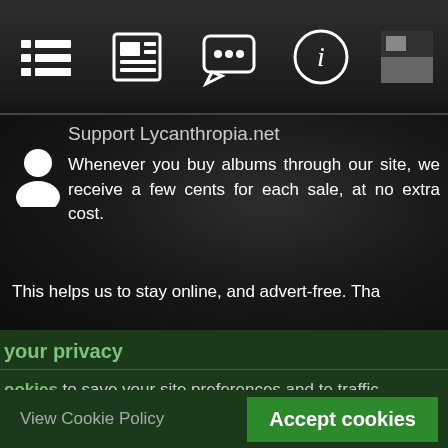[Figure (screenshot): Mobile app navigation bar with icons: list/menu icon, newspaper/articles icon, chat/comments icon, info circle icon, and a thumbnail image icon]
Support Lycanthropia.net
[Figure (illustration): White user/person silhouette icon]
Whenever you buy albums through our site, we receive a few cents for each sale, at no extra cost.
This helps us to stay online, and advert-free. Tha
your privacy
ookies to save your site preferences and te traffic.
View Cookie Policy
Accept cookies